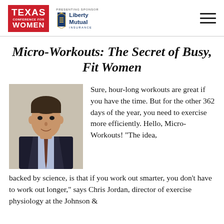Texas Conference for Women | Presenting Sponsor: Liberty Mutual Insurance
Micro-Workouts: The Secret of Busy, Fit Women
[Figure (photo): Headshot of a man in a dark suit and tie, smiling]
Sure, hour-long workouts are great if you have the time. But for the other 362 days of the year, you need to exercise more efficiently. Hello, Micro-Workouts! “The idea, backed by science, is that if you work out smarter, you don’t have to work out longer,” says Chris Jordan, director of exercise physiology at the Johnson &